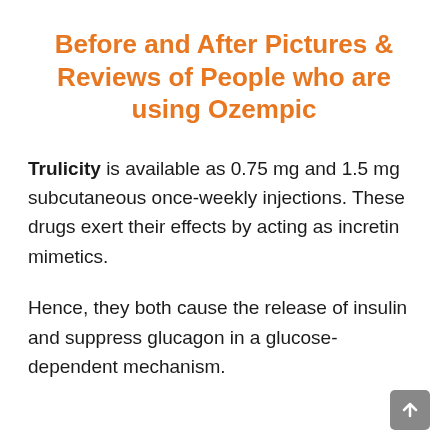Before and After Pictures & Reviews of People who are using Ozempic
Trulicity is available as 0.75 mg and 1.5 mg subcutaneous once-weekly injections. These drugs exert their effects by acting as incretin mimetics.
Hence, they both cause the release of insulin and suppress glucagon in a glucose-dependent mechanism.